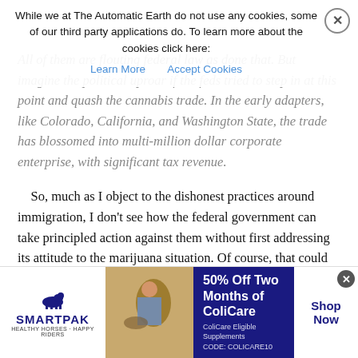While we at The Automatic Earth do not use any cookies, some of our third party applications do. To learn more about the cookies click here: Learn More | Accept Cookies
All of them are flouting federal law as done that. But imagine the political uproar if the feds tried to step in at this point and quash the cannabis trade. In the early adapters, like Colorado, California, and Washington State, the trade has blossomed into multi-million dollar corporate enterprise, with significant tax revenue.
So, much as I object to the dishonest practices around immigration, I don't see how the federal government can take principled action against them without first addressing its attitude to the marijuana situation. Of course, that could be easily disposed of by congress adopting a simple law to the effect that the cultivation and sale of cannabis shall be regulated by the states. The craven members of congress apparently don't even dare to raise the issue of resolving this conundrum, and the thought may have never even entered the mighty golden brain-pan of our president — not to mention The New York Times, The Washington Post, CNN, Fox-
[Figure (infographic): SmartPak advertisement banner: logo on left, horse/person image in center, '50% Off Two Months of ColiCare' promotional text on dark blue background, 'Shop Now' call to action button. CODE: COLICARE10]